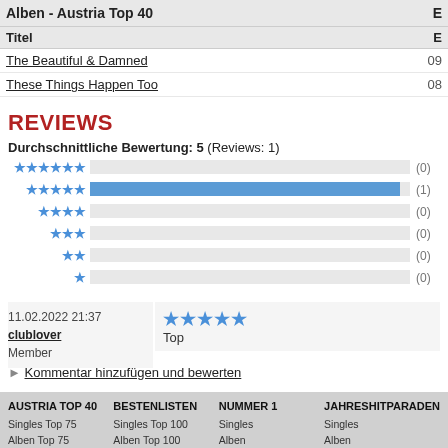| Alben - Austria Top 40 | E |
| --- | --- |
| The Beautiful & Damned | 09 |
| These Things Happen Too | 08 |
REVIEWS
Durchschnittliche Bewertung: 5 (Reviews: 1)
[Figure (bar-chart): Star rating distribution]
11.02.2022 21:37
clublover
Member
★★★★★ Top
Kommentar hinzufügen und bewerten
AUSTRIA TOP 40 | BESTENLISTEN | NUMMER 1 | JAHRESHITPARADEN
Singles Top 75 | Singles Top 100 | Singles | Singles
Alben Top 75 | Alben Top 100 | Alben | Alben
Compilations Top 20 | 1960er
Musik-DVDs Top 10 | 1970er | Ö3-HITPARADE
Ergänzungen | 1980er | 04.01.1971 - 29.12.1974